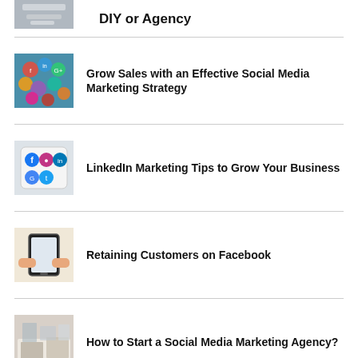[Figure (photo): Partial view of hands/papers at a desk - top of page, cropped]
DIY or Agency
[Figure (photo): Social media app icons scattered on a surface]
Grow Sales with an Effective Social Media Marketing Strategy
[Figure (photo): Phone screen showing social media icons including Facebook, Instagram, LinkedIn, Google Maps, Twitter]
LinkedIn Marketing Tips to Grow Your Business
[Figure (photo): Hands holding a smartphone]
Retaining Customers on Facebook
[Figure (photo): Papers and items on a desk, planning session]
How to Start a Social Media Marketing Agency?